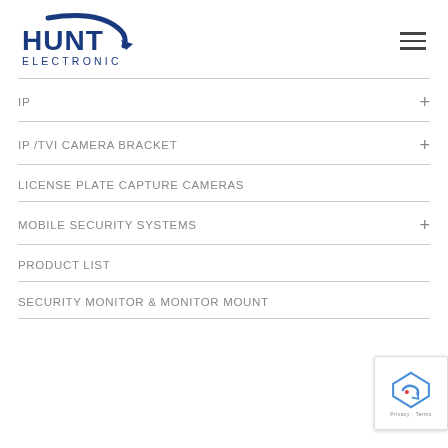[Figure (logo): Hunt Electronic logo with blue stylized arch/arrow and block letters HUNT ELECTRONIC]
IP +
IP /TVI CAMERA BRACKET +
LICENSE PLATE CAPTURE CAMERAS
MOBILE SECURITY SYSTEMS +
PRODUCT LIST
SECURITY MONITOR & MONITOR MOUNT